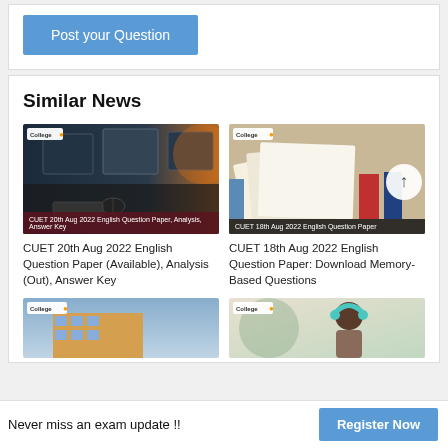[Figure (screenshot): Blue 'Post your Question' button on white background section]
Similar News
[Figure (photo): Computer lab desk with mouse and keyboard, with overlay text: CUET 20th Aug 2022 English Question Paper, Analysis, Answer Key]
CUET 20th Aug 2022 English Question Paper (Available), Analysis (Out), Answer Key
[Figure (photo): Stack of open books with overlay text: CUET 18th Aug 2022 English Question Paper]
CUET 18th Aug 2022 English Question Paper: Download Memory-Based Questions
[Figure (photo): Building exterior photo (bottom left, partial)]
[Figure (photo): Girl with headphones studying (bottom right, partial)]
Never miss an exam update !!
[Figure (screenshot): Blue 'Register Now' button]